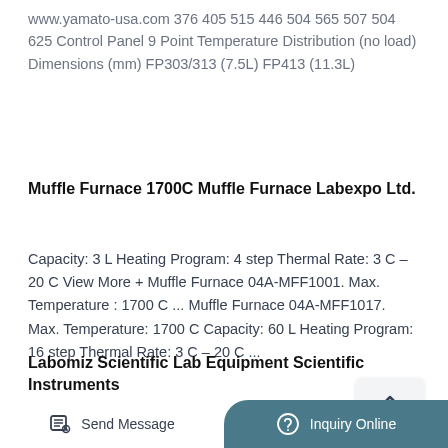www.yamato-usa.com 376 405 515 446 504 565 507 504 625 Control Panel 9 Point Temperature Distribution (no load) Dimensions (mm) FP303/313 (7.5L) FP413 (11.3L)
Muffle Furnace 1700C Muffle Furnace Labexpo Ltd.
Capacity: 3 L Heating Program: 4 step Thermal Rate: 3 C – 20 C View More + Muffle Furnace 04A-MFF1001. Max. Temperature : 1700 C ... Muffle Furnace 04A-MFF1017. Max. Temperature: 1700 C Capacity: 60 L Heating Program: 16 step Thermal Rate: 3 C – 20 C ...
Labomiz Scientific Lab Equipment Scientific Instruments
Send Message | Inquiry Online